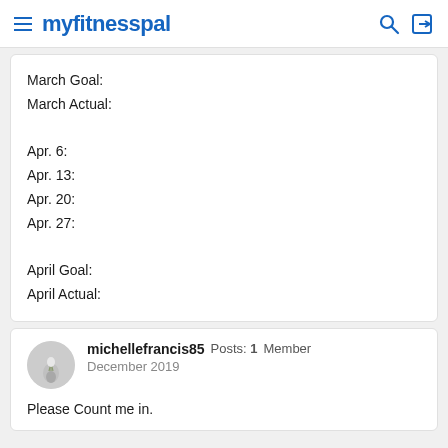myfitnesspal
March Goal:
March Actual:

Apr. 6:
Apr. 13:
Apr. 20:
Apr. 27:

April Goal:
April Actual:
michellefrancis85  Posts: 1  Member
December 2019

Please Count me in.